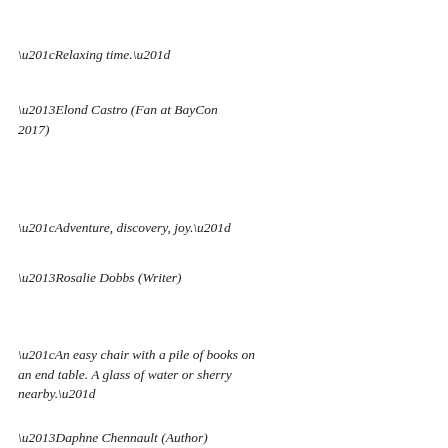“Relaxing time.”
–Elond Castro (Fan at BayCon 2017)
Venus Ascending
Whedonesque
RSS - Posts
RSS - Comments
“Adventure, discovery, joy.”
–Rosalie Dobbs (Writer)
“An easy chair with a pile of books on an end table.  A glass of water or sherry nearby.”
–Daphne Chennault (Author)